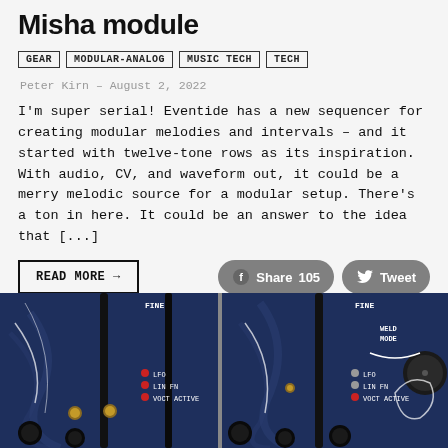Misha module
GEAR
MODULAR-ANALOG
MUSIC TECH
TECH
Peter Kirn – August 2, 2022
I'm super serial! Eventide has a new sequencer for creating modular melodies and intervals – and it started with twelve-tone rows as its inspiration. With audio, CV, and waveform out, it could be a merry melodic source for a modular setup. There's a ton in here. It could be an answer to the idea that [...]
READ MORE →
Share 105
Tweet
[Figure (photo): Close-up photo of Misha Eurorack module panels showing knobs, LEDs labeled LFO, LIN FN, VOCT ACTIVE, and text FINE, WELD MODE on a dark blue panel with decorative artwork]